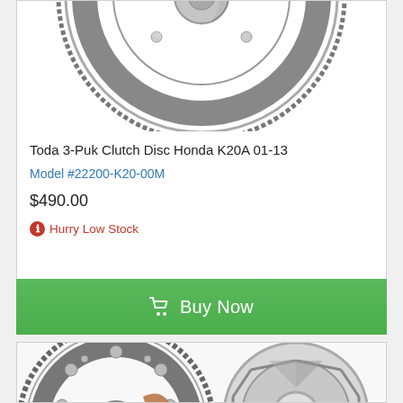[Figure (photo): Partial product photo of a flywheel/clutch disc component, cropped at top]
Toda 3-Puk Clutch Disc Honda K20A 01-13
Model #22200-K20-00M
$490.00
Hurry Low Stock
Buy Now
[Figure (photo): Product photo of a clutch kit including flywheel, clutch disc, and pressure plate]